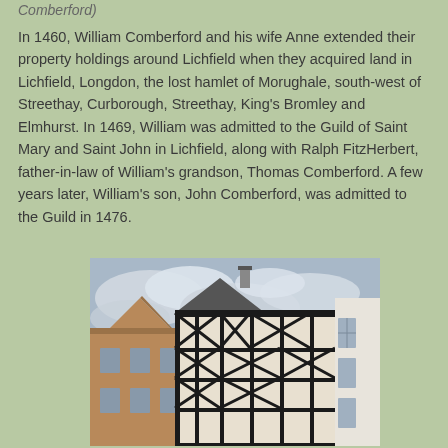Comberford)
In 1460, William Comberford and his wife Anne extended their property holdings around Lichfield when they acquired land in Lichfield, Longdon, the lost hamlet of Morughale, south-west of Streethay, Curborough, Streethay, King's Bromley and Elmhurst. In 1469, William was admitted to the Guild of Saint Mary and Saint John in Lichfield, along with Ralph FitzHerbert, father-in-law of William's grandson, Thomas Comberford. A few years later, William's son, John Comberford, was admitted to the Guild in 1476.
[Figure (photo): Photograph of a historic timber-framed building with distinctive black and white half-timbered facade, taken from street level looking up. The building has gabled rooflines and large windows. Adjacent buildings and a cloudy sky are visible.]